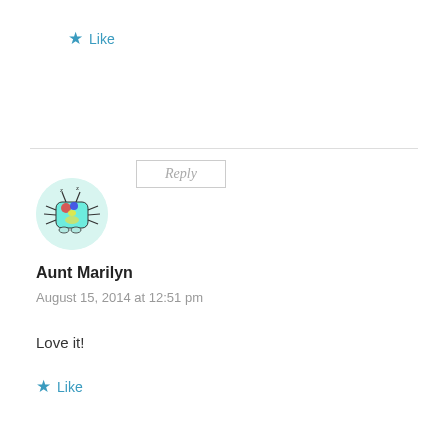★ Like
Reply
[Figure (illustration): Circular avatar with teal background showing a cartoon monster/bug character in light blue with colorful spots]
Aunt Marilyn
August 15, 2014 at 12:51 pm
Love it!
★ Like
Reply